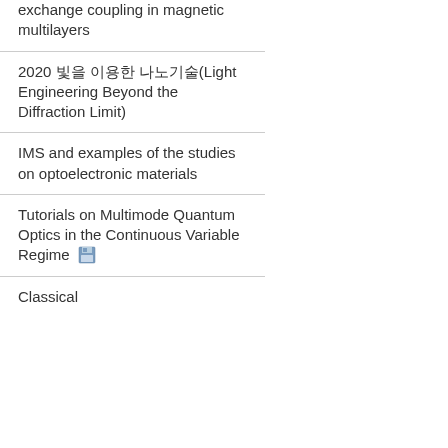exchange coupling in magnetic multilayers
2020 빛을 이용한 나노기술(Light Engineering Beyond the Diffraction Limit)
IMS and examples of the studies on optoelectronic materials
Tutorials on Multimode Quantum Optics in the Continuous Variable Regime
Classical